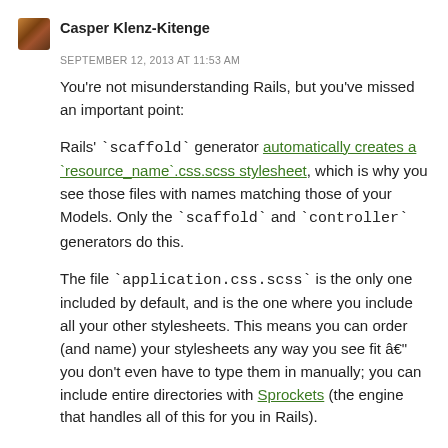Casper Klenz-Kitenge
SEPTEMBER 12, 2013 AT 11:53 AM
You’re not misunderstanding Rails, but you’ve missed an important point:
Rails’ `scaffold` generator automatically creates a `resource_name`.css.scss stylesheet, which is why you see those files with names matching those of your Models. Only the `scaffold` and `controller` generators do this.
The file `application.css.scss` is the only one included by default, and is the one where you include all your other stylesheets. This means you can order (and name) your stylesheets any way you see fit â€” you don’t even have to type them in manually; you can include entire directories with Sprockets (the engine that handles all of this for you in Rails).